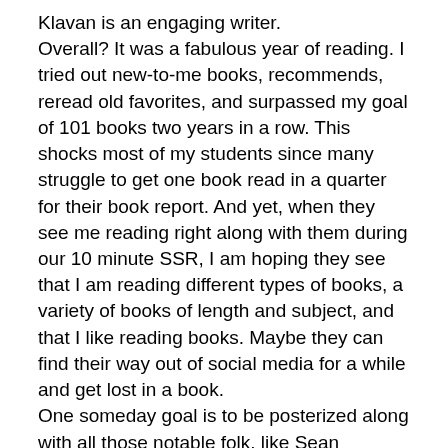Klavan is an engaging writer. Overall? It was a fabulous year of reading. I tried out new-to-me books, recommends, reread old favorites, and surpassed my goal of 101 books two years in a row. This shocks most of my students since many struggle to get one book read in a quarter for their book report. And yet, when they see me reading right along with them during our 10 minute SSR, I am hoping they see that I am reading different types of books, a variety of books of length and subject, and that I like reading books. Maybe they can find their way out of social media for a while and get lost in a book. One someday goal is to be posterized along with all those notable folk, like Sean Connery, who smile down from the library walls holding up theirs book of choice. There I will be, holding up that someday bestseller cow joke book, the